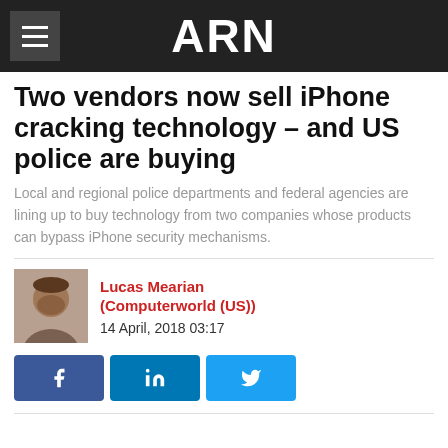ARN
Two vendors now sell iPhone cracking technology – and US police are buying
Local and regional police departments and federal agencies are lining up to buy technology from two companies whose products can bypass iPhone security mechanisms.
Lucas Mearian (Computerworld (US))
14 April, 2018 03:17